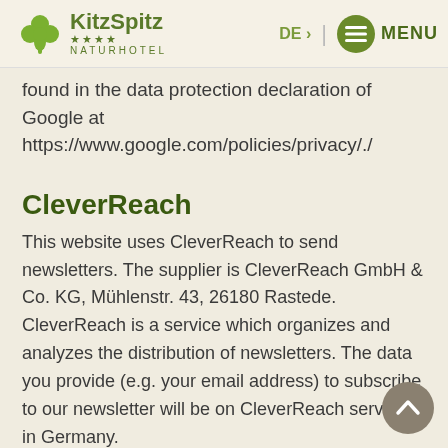KitzSpitz Naturhotel — DE — MENU
found in the data protection declaration of Google at https://www.google.com/policies/privacy/./
CleverReach
This website uses CleverReach to send newsletters. The supplier is CleverReach GmbH & Co. KG, Mühlenstr. 43, 26180 Rastede. CleverReach is a service which organizes and analyzes the distribution of newsletters. The data you provide (e.g. your email address) to subscribe to our newsletter will be on CleverReach servers in Germany.